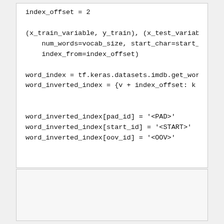index_offset = 2

(x_train_variable, y_train), (x_test_variabl
    num_words=vocab_size, start_char=start_i
    index_from=index_offset)

word_index = tf.keras.datasets.imdb.get_word
word_inverted_index = {v + index_offset: k f


word_inverted_index[pad_id] = '<PAD>'
word_inverted_index[start_id] = '<START>'
word_inverted_index[oov_id] = '<OOV>'